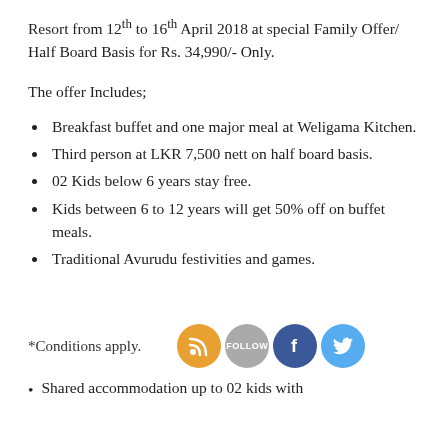Resort from 12th to 16th April 2018 at special Family Offer/ Half Board Basis for Rs. 34,990/- Only.
The offer Includes;
Breakfast buffet and one major meal at Weligama Kitchen.
Third person at LKR 7,500 nett on half board basis.
02 Kids below 6 years stay free.
Kids between 6 to 12 years will get 50% off on buffet meals.
Traditional Avurudu festivities and games.
*Conditions apply.
[Figure (infographic): Social media icons: RSS feed (orange), Follow button (gray), Facebook (blue), Twitter (light blue)]
Shared accommodation up to 02 kids with